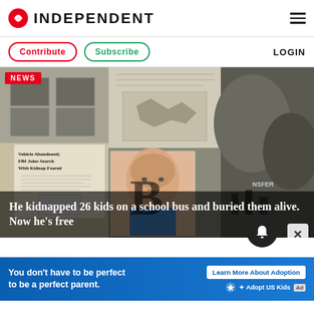INDEPENDENT
Contribute  Subscribe  LOGIN
[Figure (photo): Collage of news photos and newspaper clippings related to a kidnapping case: black-and-white images of coffin-like boxes, old newspaper clippings with headlines 'Vehicle Abandoned; FBI Joins Search With Kidnap Feared', a mugshot of an older balding man in a blue shirt, and black-and-white photos of people outdoors. A large letter B watermark is overlaid.]
He kidnapped 26 kids on a school bus and buried them alive. Now he’s free
You don’t have to be perfect to be a perfect parent.
Learn More About Adoption  ⭐ Adopt US Kids